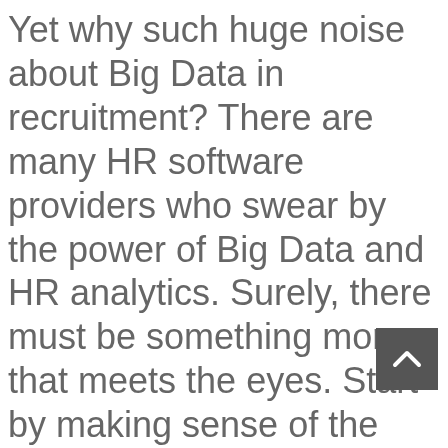Yet why such huge noise about Big Data in recruitment? There are many HR software providers who swear by the power of Big Data and HR analytics. Surely, there must be something more that meets the eyes. Start by making sense of the basics first. Use small data to its fullest potential.  Most ATS or Recruitment Management Systems provide a variety of data in form of candidate sourcing reports which have various parameters that keep a track of channels that bring in the best candidates. These automatically